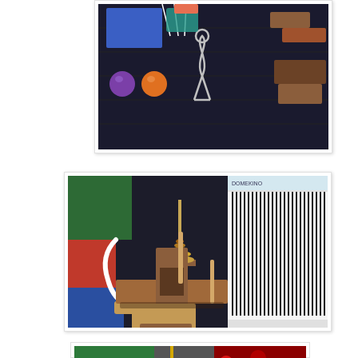[Figure (photo): Photo of assorted puzzles and toys on a dark surface including colored balls, wooden blocks, and a metal wire puzzle piece]
[Figure (photo): Photo of wooden puzzle pieces including a Tower of Hanoi style stacking toy and interlocking wooden block puzzles on a dark surface, with a knitting machine visible in the background]
[Figure (photo): Partially visible photo showing green fabric, a yellow wire puzzle or toy, and red glittery material]